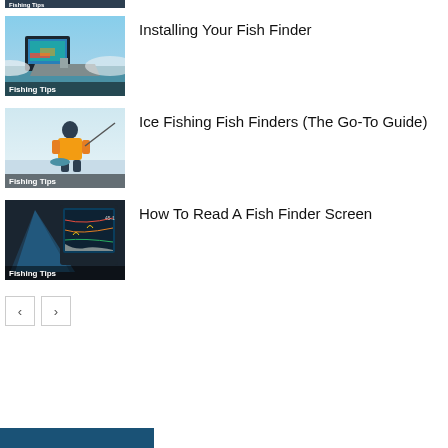[Figure (photo): Partial top strip showing fishing tips thumbnail cropped at top of page]
[Figure (photo): Fish finder mounted on boat near water, labeled Fishing Tips]
Installing Your Fish Finder
[Figure (photo): Person ice fishing in yellow jacket, labeled Fishing Tips]
Ice Fishing Fish Finders (The Go-To Guide)
[Figure (photo): Fish finder screen showing sonar display, labeled Fishing Tips]
How To Read A Fish Finder Screen
< >
[Figure (other): Blue bar at bottom of page, partially visible]